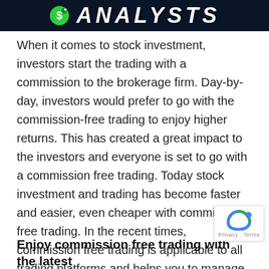[Figure (illustration): Dark banner with stylized 'ANALYSTS' text and a small coin/character icon on the left, white bold italic letters on dark navy background]
When it comes to stock investment, investors start the trading with a commission to the brokerage firm. Day-by-day, investors would prefer to go with the commission-free trading to enjoy higher returns. This has created a great impact to the investors and everyone is set to go with a commission free trading. Today stock investment and trading has become faster and easier, even cheaper with commission free trading. In the recent times, commission free trading is applicable to all trading platforms and helps you to manage the stock trading on your own. Visit the following site https://www.webullapp.com and sure you will enjoy commission free trading!!
Enjoy commission free trading with the latest